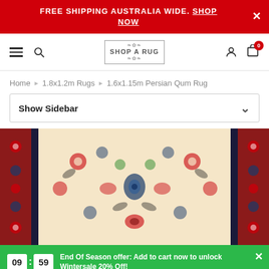FREE SHIPPING AUSTRALIA WIDE. SHOP NOW
[Figure (logo): Shop A Rug logo in navigation bar with hamburger menu, search icon, user icon, and cart icon with badge 0]
Home › 1.8x1.2m Rugs › 1.6x1.15m Persian Qum Rug
Show Sidebar
[Figure (photo): Close-up of a Persian Qum rug with floral patterns in cream, red, blue and dark colors with ornate border]
End Of Season offer: Add to cart now to unlock Wintersale 20% Off!
A$919.20 A$1,149.00 Get Coupon